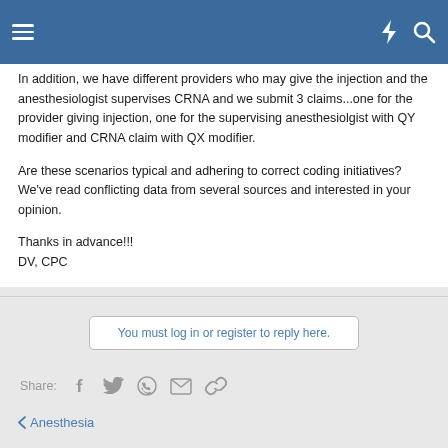Navigation bar with hamburger menu and search/notification icons
In addition, we have different providers who may give the injection and the anesthesiologist supervises CRNA and we submit 3 claims...one for the provider giving injection, one for the supervising anesthesiolgist with QY modifier and CRNA claim with QX modifier.
Are these scenarios typical and adhering to correct coding initiatives? We've read conflicting data from several sources and interested in your opinion.
Thanks in advance!!!
DV, CPC
You must log in or register to reply here.
Share:
Anesthesia